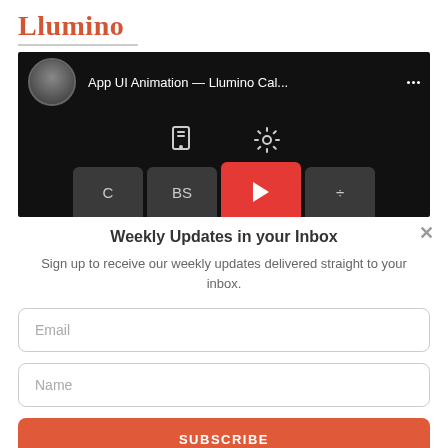Llumino
[Figure (screenshot): YouTube-style video thumbnail showing a dark/black background with a circular avatar on the left, the title 'App UI Animation — Llumino Cal...' in white text, three-dot menu icon, phone and gear icons in the middle, and calculator buttons at the bottom including a red play button in the center.]
Weekly Updates in your Inbox
Sign up to receive our weekly updates delivered straight to your inbox.
Email
Name
SUBSCRIBE